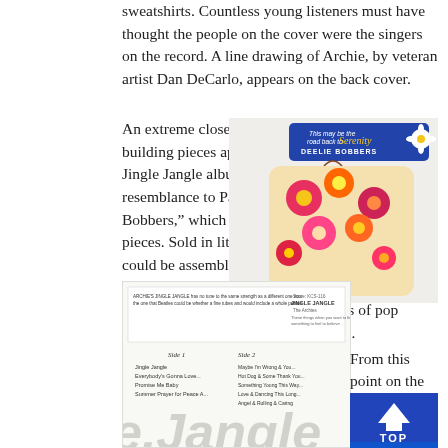sweatshirts. Countless young listeners must have thought the people on the cover were the singers on the record. A line drawing of Archie, by veteran artist Dan DeCarlo, appears on the back cover.
An extreme close-up of colorful plastic building pieces appears on the cover of the Jingle Jangle album cover. They bear a resemblance to Parker Brothers' “Deelie Bobbers,” which were little flower power-era pieces. Sold in little drawstring bags, they could be assembled in peaceful abstract ways and appealed to groovy folk of all ages. It was a clever way to combine the concepts of pop art, bubblegum music and playthings.
[Figure (photo): Photo of a colorful floral drawstring bag with a blue tag reading 'DEELIE BOBBERS' and flower decoration]
[Figure (photo): Photo of the back cover of the Jingle Jangle album showing track listing with Side 1 and Side 2, with large stylized 'Jangle' text visible]
From this point on the